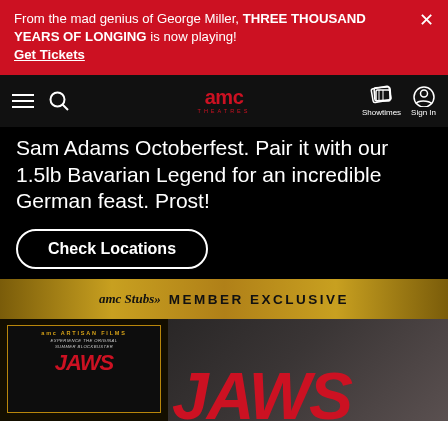From the mad genius of George Miller, THREE THOUSAND YEARS OF LONGING is now playing! Get Tickets
[Figure (screenshot): AMC Theatres navigation bar with hamburger menu, search icon, AMC Theatres logo, Showtimes and Sign In icons]
Sam Adams Octoberfest. Pair it with our 1.5lb Bavarian Legend for an incredible German feast. Prost!
Check Locations
AMC Stubs MEMBER EXCLUSIVE
[Figure (screenshot): AMC Artisan Films JAWS movie poster and large JAWS title text in red on dark gradient background]